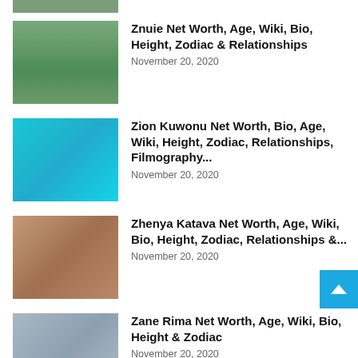[Figure (photo): Partial top crop of a person's photo, cut off]
Znuie Net Worth, Age, Wiki, Bio, Height, Zodiac & Relationships
November 20, 2020
[Figure (photo): Young man wearing a red and white trucker hat posing against a cyan/blue background]
Zion Kuwonu Net Worth, Bio, Age, Wiki, Height, Zodiac, Relationships, Filmography...
November 20, 2020
[Figure (photo): Young woman with dark hair raising her arm, wearing gold earrings]
Zhenya Katava Net Worth, Age, Wiki, Bio, Height, Zodiac, Relationships &...
November 20, 2020
[Figure (photo): Young woman with dark hair sitting, wearing a denim jacket]
Zane Rima Net Worth, Age, Wiki, Bio, Height & Zodiac
November 20, 2020